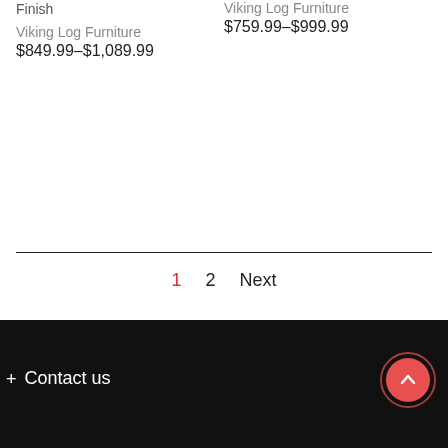Finish
Viking Log Furniture
$849.99–$1,089.99
Viking Log Furniture
$759.99–$999.99
1  2  Next
+ Contact us